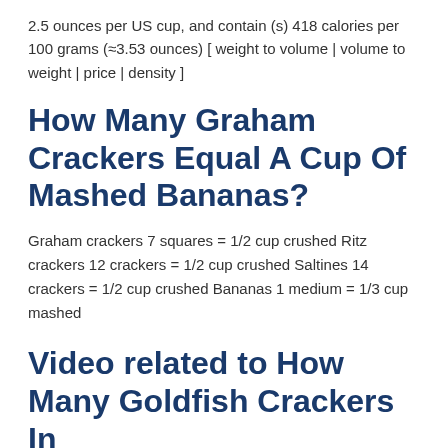2.5 ounces per US cup, and contain (s) 418 calories per 100 grams (≈3.53 ounces) [ weight to volume | volume to weight | price | density ]
How Many Graham Crackers Equal A Cup Of Mashed Bananas?
Graham crackers 7 squares = 1/2 cup crushed Ritz crackers 12 crackers = 1/2 cup crushed Saltines 14 crackers = 1/2 cup crushed Bananas 1 medium = 1/3 cup mashed
Video related to How Many Goldfish Crackers In A 1 2 Cup